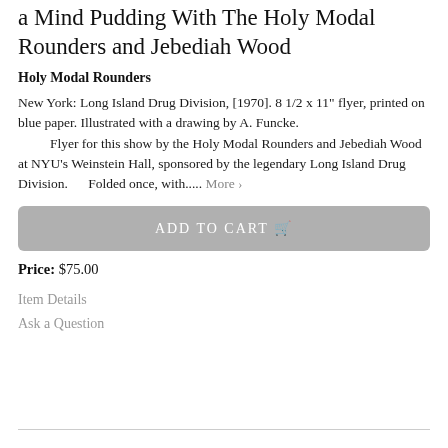a Mind Pudding With The Holy Modal Rounders and Jebediah Wood
Holy Modal Rounders
New York: Long Island Drug Division, [1970]. 8 1/2 x 11" flyer, printed on blue paper. Illustrated with a drawing by A. Funcke.
    Flyer for this show by the Holy Modal Rounders and Jebediah Wood at NYU's Weinstein Hall, sponsored by the legendary Long Island Drug Division.      Folded once, with..... More ›
ADD TO CART 🛒
Price: $75.00
Item Details
Ask a Question